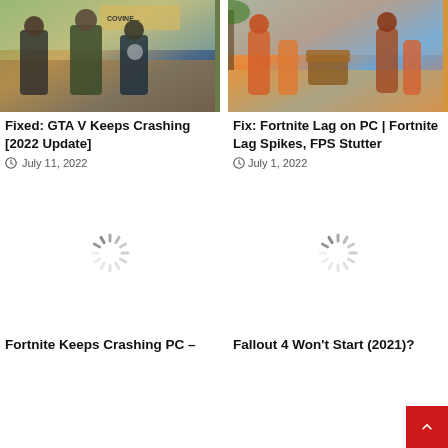[Figure (photo): GTA V game cover art showing three characters]
[Figure (photo): Fortnite game art showing characters in colorful battle scene]
Fixed: GTA V Keeps Crashing [2022 Update]
July 11, 2022
Fix: Fortnite Lag on PC | Fortnite Lag Spikes, FPS Stutter
July 1, 2022
[Figure (other): Loading spinner / placeholder image]
[Figure (other): Loading spinner / placeholder image]
Fortnite Keeps Crashing PC –
Fallout 4 Won't Start (2021)?